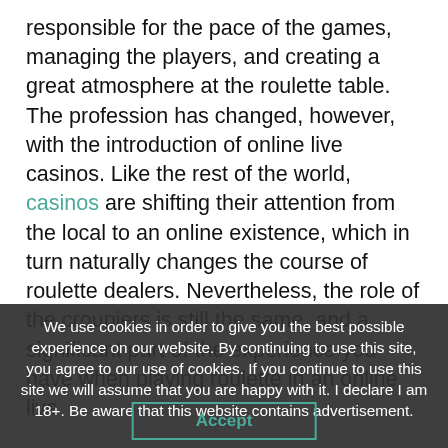responsible for the pace of the games, managing the players, and creating a great atmosphere at the roulette table.  The profession has changed, however, with the introduction of online live casinos. Like the rest of the world, casinos are shifting their attention from the local to an online existence, which in turn naturally changes the course of roulette dealers. Nevertheless, the role of the croupiers is still the same, and a significant part of the experience you have when playing roulette in an online live
We use cookies in order to give you the best possible experience on our website. By continuing to use this site, you agree to our use of cookies. If you continue to use this site we will assume that you are happy with it. I declare I am 18+. Be aware that this website contains advertisement.
Accept